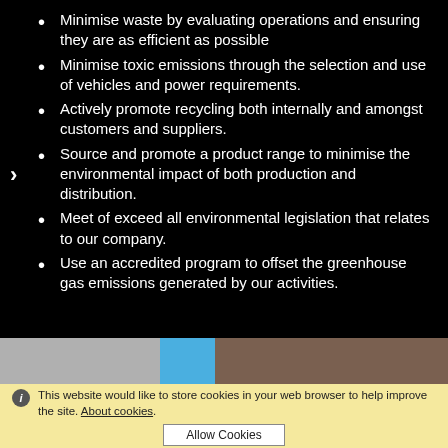Minimise waste by evaluating operations and ensuring they are as efficient as possible
Minimise toxic emissions through the selection and use of vehicles and power requirements.
Actively promote recycling both internally and amongst customers and suppliers.
Source and promote a product range to minimise the environmental impact of both production and distribution.
Meet of exceed all environmental legislation that relates to our company.
Use an accredited program to offset the greenhouse gas emissions generated by our activities.
[Figure (photo): A photo strip showing vehicles and machinery against a light background.]
This website would like to store cookies in your web browser to help improve the site. About cookies. Allow Cookies.